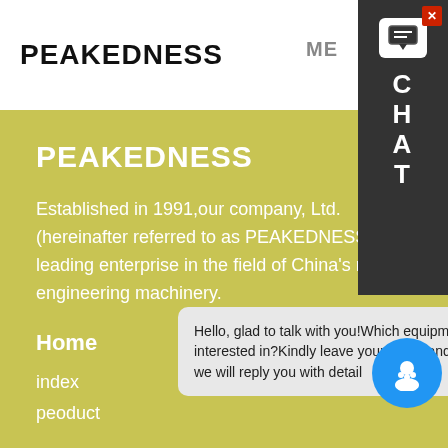PEAKEDNESS
PEAKEDNESS
Established in 1991,our company, Ltd. (hereinafter referred to as PEAKEDNESS) is a leading enterprise in the field of China's mixing engineering machinery.
Home
index
peoduct
Hello, glad to talk with you!Which equipment are you interested in?Kindly leave your name and email add, we will reply you with detail